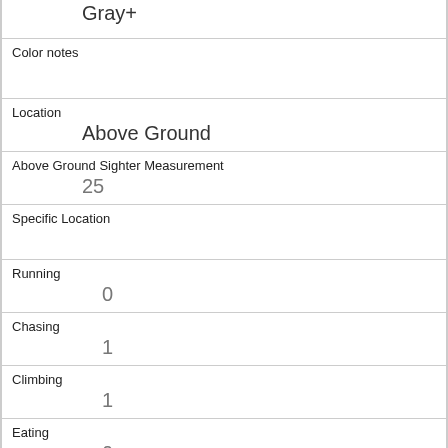Gray+
Color notes
Location
Above Ground
Above Ground Sighter Measurement
25
Specific Location
Running
0
Chasing
1
Climbing
1
Eating
0
Foraging
0
Other Activities